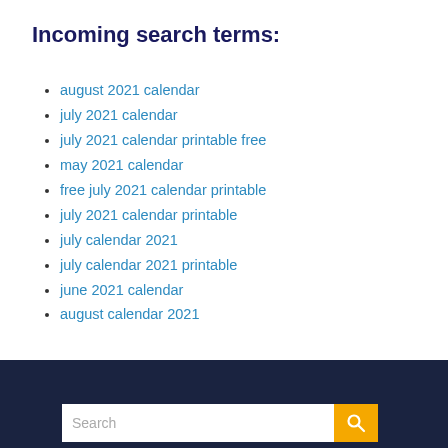Incoming search terms:
august 2021 calendar
july 2021 calendar
july 2021 calendar printable free
may 2021 calendar
free july 2021 calendar printable
july 2021 calendar printable
july calendar 2021
july calendar 2021 printable
june 2021 calendar
august calendar 2021
[Figure (screenshot): Dark navy footer bar with a search box containing placeholder text 'Search' and a yellow search button with a magnifying glass icon]